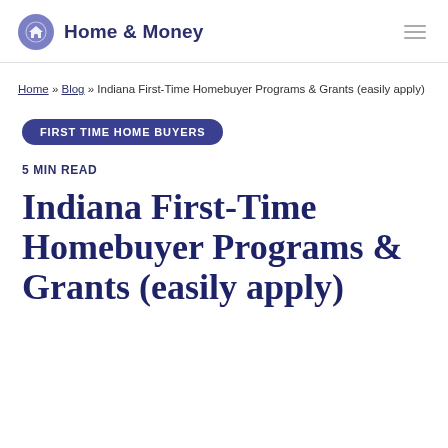Home & Money
Home » Blog » Indiana First-Time Homebuyer Programs & Grants (easily apply)
FIRST TIME HOME BUYERS
5 MIN READ
Indiana First-Time Homebuyer Programs & Grants (easily apply)